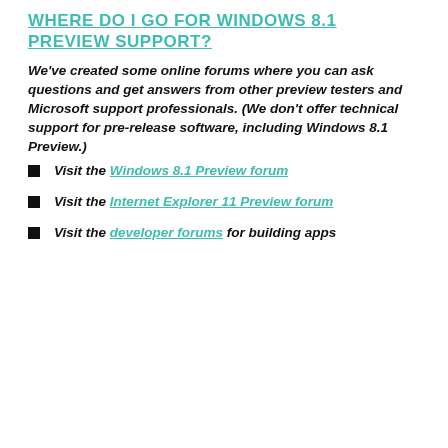WHERE DO I GO FOR WINDOWS 8.1 PREVIEW SUPPORT?
We've created some online forums where you can ask questions and get answers from other preview testers and Microsoft support professionals. (We don't offer technical support for pre-release software, including Windows 8.1 Preview.)
Visit the Windows 8.1 Preview forum
Visit the Internet Explorer 11 Preview forum
Visit the developer forums for building apps